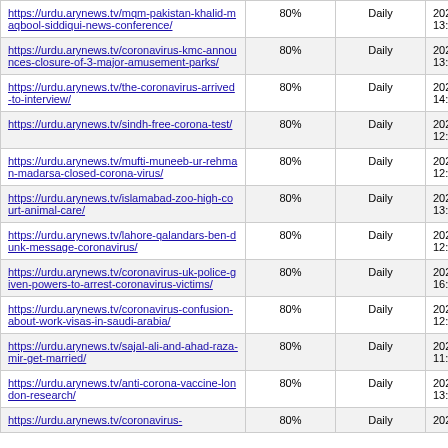| https://urdu.arynews.tv/mqm-pakistan-khalid-maqbool-siddiqui-news-conference/ | 80% | Daily | 2020-03-14 13:21 |
| https://urdu.arynews.tv/coronavirus-kmc-announces-closure-of-3-major-amusement-parks/ | 80% | Daily | 2020-03-14 13:34 |
| https://urdu.arynews.tv/the-coronavirus-arrived-to-interview/ | 80% | Daily | 2020-03-14 14:51 |
| https://urdu.arynews.tv/sindh-free-corona-test/ | 80% | Daily | 2020-03-14 12:59 |
| https://urdu.arynews.tv/mufti-muneeb-ur-rehman-madarsa-closed-corona-virus/ | 80% | Daily | 2020-03-14 12:57 |
| https://urdu.arynews.tv/islamabad-zoo-high-court-animal-care/ | 80% | Daily | 2020-03-14 13:13 |
| https://urdu.arynews.tv/lahore-qalandars-ben-dunk-message-coronavirus/ | 80% | Daily | 2020-03-14 12:34 |
| https://urdu.arynews.tv/coronavirus-uk-police-given-powers-to-arrest-coronavirus-victims/ | 80% | Daily | 2020-03-14 16:06 |
| https://urdu.arynews.tv/coronavirus-confusion-about-work-visas-in-saudi-arabia/ | 80% | Daily | 2020-03-14 12:15 |
| https://urdu.arynews.tv/sajal-ali-and-ahad-raza-mir-get-married/ | 80% | Daily | 2020-03-14 11:55 |
| https://urdu.arynews.tv/anti-corona-vaccine-london-research/ | 80% | Daily | 2020-03-14 13:27 |
| https://urdu.arynews.tv/coronavirus- | 80% | Daily | 2020-03-14 |